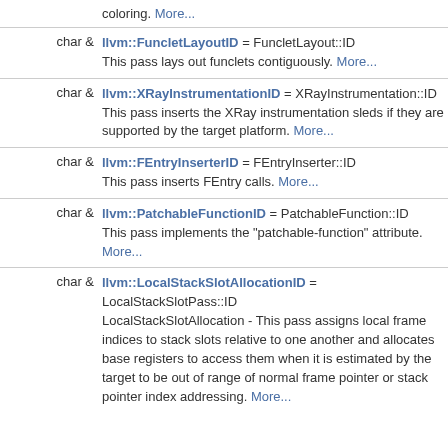coloring. More...
char & llvm::FuncletLayoutID = FuncletLayout::ID — This pass lays out funclets contiguously. More...
char & llvm::XRayInstrumentationID = XRayInstrumentation::ID — This pass inserts the XRay instrumentation sleds if they are supported by the target platform. More...
char & llvm::FEntryInserterID = FEntryInserter::ID — This pass inserts FEntry calls. More...
char & llvm::PatchableFunctionID = PatchableFunction::ID — This pass implements the "patchable-function" attribute. More...
char & llvm::LocalStackSlotAllocationID = LocalStackSlotPass::ID — LocalStackSlotAllocation - This pass assigns local frame indices to stack slots relative to one another and allocates base registers to access them when it is estimated by the target to be out of range of normal frame pointer or stack pointer index addressing. More...